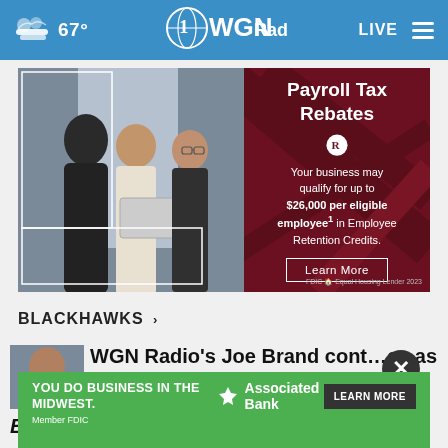67° WGN Radio LIVE
[Figure (infographic): Payroll Tax Rebates advertisement banner with photo of business people and text: Your business may qualify for up to $26,000 per eligible employee in Employee Retention Credits. Learn More button. FDIC logo bottom right.]
BLACKHAWKS ›
[Figure (photo): Thumbnail photo of Joe Brand, male news anchor]
WGN Radio's Joe Brand continues as voice of Chicago...
Blackhawks face wild in
[Figure (infographic): Associated Bank advertisement: YOU DO BUSINESS IN THE MIDWEST. Associated Bank logo. LEARN MORE button. Member FDIC.]